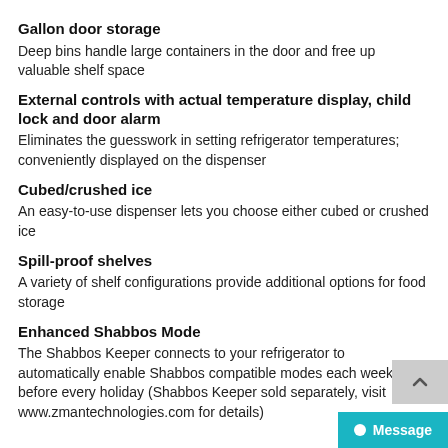Gallon door storage
Deep bins handle large containers in the door and free up valuable shelf space
External controls with actual temperature display, child lock and door alarm
Eliminates the guesswork in setting refrigerator temperatures; conveniently displayed on the dispenser
Cubed/crushed ice
An easy-to-use dispenser lets you choose either cubed or crushed ice
Spill-proof shelves
A variety of shelf configurations provide additional options for food storage
Enhanced Shabbos Mode
The Shabbos Keeper connects to your refrigerator to automatically enable Shabbos compatible modes each week and before every holiday (Shabbos Keeper sold separately, visit www.zmantechnologies.com for details)